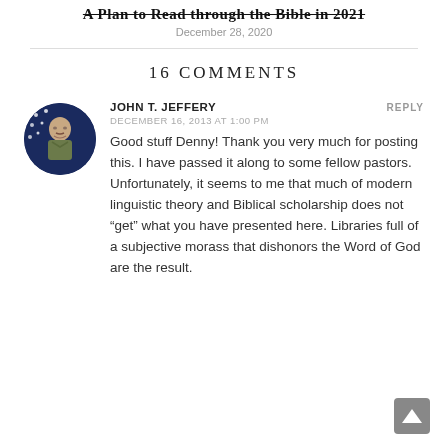A Plan to Read through the Bible in 2021
December 28, 2020
16 COMMENTS
[Figure (photo): Circular avatar photo of a man in military camouflage uniform with an American flag background]
JOHN T. JEFFERY
DECEMBER 16, 2013 AT 1:00 PM
Good stuff Denny! Thank you very much for posting this. I have passed it along to some fellow pastors. Unfortunately, it seems to me that much of modern linguistic theory and Biblical scholarship does not “get” what you have presented here. Libraries full of a subjective morass that dishonors the Word of God are the result.